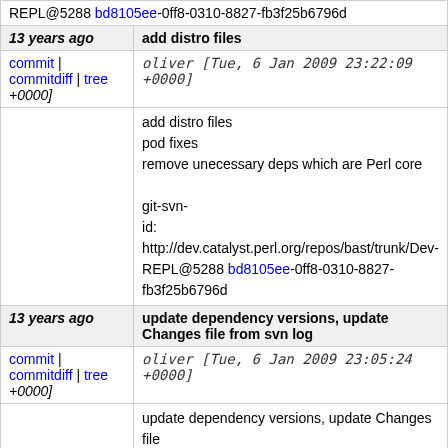REPL@5288 bd8105ee-0ff8-0310-8827-fb3f25b6796d
| 13 years ago | add distro files |
| commit | commitdiff | tree +0000] | oliver [Tue, 6 Jan 2009 23:22:09 +0000] |
|  | add distro files
pod fixes
remove unecessary deps which are Perl core

git-svn-id: http://dev.catalyst.perl.org/repos/bast/trunk/Dev-REPL@5288 bd8105ee-0ff8-0310-8827-fb3f25b6796d |
| 13 years ago | update dependency versions, update Changes file from svn log |
| commit | commitdiff | tree +0000] | oliver [Tue, 6 Jan 2009 23:05:24 +0000] |
|  | update dependency versions, update Changes file

git-svn-id: http://dev.catalyst.perl.org/repos/bast/trunk/Dev-REPL@5287 bd8105ee-0ff8-0310-8827-fb3f25b6796d |